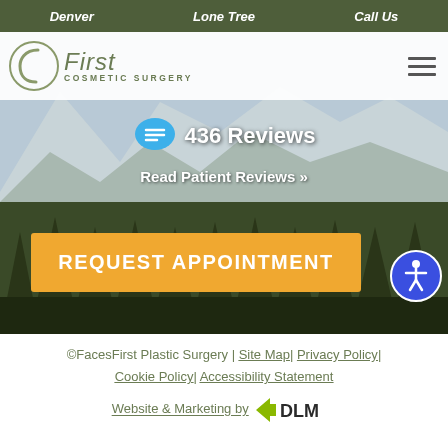Denver | Lone Tree | Call Us
[Figure (screenshot): FacesFirst Cosmetic Surgery website screenshot showing navigation bar, logo with profile face icon, mountain/forest hero background image, 436 Reviews chat bubble, Read Patient Reviews link, orange REQUEST APPOINTMENT button, accessibility icon, and footer with copyright and links.]
436 Reviews
Read Patient Reviews »
REQUEST APPOINTMENT
©FacesFirst Plastic Surgery | Site Map | Privacy Policy | Cookie Policy | Accessibility Statement
Website & Marketing by DLM